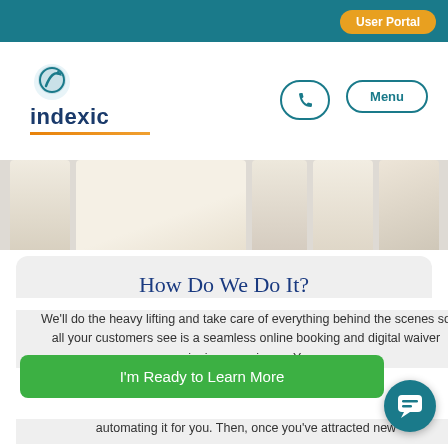User Portal
[Figure (logo): Indexic logo with teal globe icon and orange underline, text reads 'indexic']
Menu
[Figure (photo): Background image showing fabric or blinds/drapes in beige tones]
How Do We Do It?
We'll do the heavy lifting and take care of everything behind the scenes so all your customers see is a seamless online booking and digital waiver signing experience. Y... automating it for you. Then, once you've attracted new
I'm Ready to Learn More